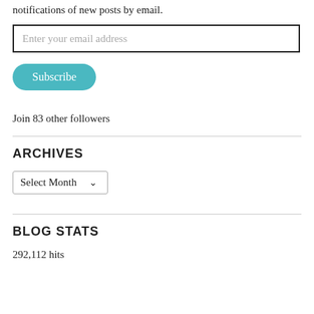notifications of new posts by email.
[Figure (other): Email input field with placeholder text 'Enter your email address']
[Figure (other): Subscribe button in teal/cyan color]
Join 83 other followers
ARCHIVES
[Figure (other): Dropdown select box showing 'Select Month' with a down arrow]
BLOG STATS
292,112 hits